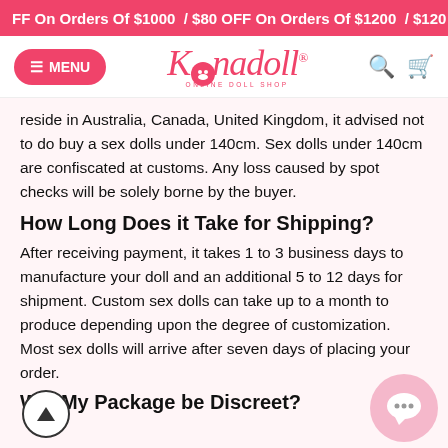OFF On Orders Of $1000 / $80 OFF On Orders Of $1200 / $120 O
MENU | Konadoll ONLINE DOLL SHOP
reside in Australia, Canada, United Kingdom, it advised not to do buy a sex dolls under 140cm. Sex dolls under 140cm are confiscated at customs. Any loss caused by spot checks will be solely borne by the buyer.
How Long Does it Take for Shipping?
After receiving payment, it takes 1 to 3 business days to manufacture your doll and an additional 5 to 12 days for shipment. Custom sex dolls can take up to a month to produce depending upon the degree of customization. Most sex dolls will arrive after seven days of placing your order.
Will My Package be Discreet?